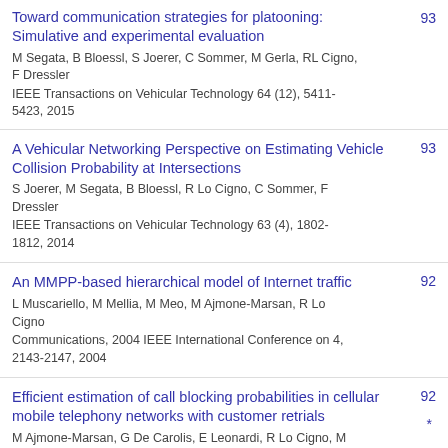Toward communication strategies for platooning: Simulative and experimental evaluation
M Segata, B Bloessl, S Joerer, C Sommer, M Gerla, RL Cigno, F Dressler
IEEE Transactions on Vehicular Technology 64 (12), 5411-5423, 2015
93
A Vehicular Networking Perspective on Estimating Vehicle Collision Probability at Intersections
S Joerer, M Segata, B Bloessl, R Lo Cigno, C Sommer, F Dressler
IEEE Transactions on Vehicular Technology 63 (4), 1802-1812, 2014
93
An MMPP-based hierarchical model of Internet traffic
L Muscariello, M Mellia, M Meo, M Ajmone-Marsan, R Lo Cigno
Communications, 2004 IEEE International Conference on 4, 2143-2147, 2004
92
Efficient estimation of call blocking probabilities in cellular mobile telephony networks with customer retrials
M Ajmone-Marsan, G De Carolis, E Leonardi, R Lo Cigno, M
92 *